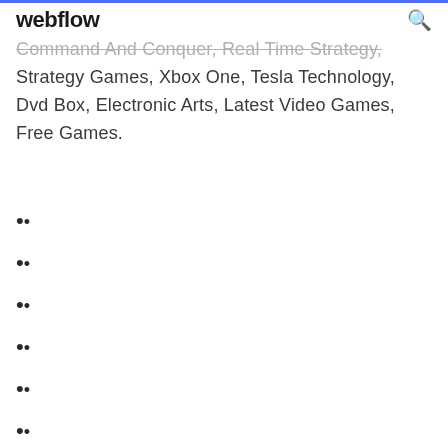webflow
Command And Conquer, Real Time Strategy, Strategy Games, Xbox One, Tesla Technology, Dvd Box, Electronic Arts, Latest Video Games, Free Games.